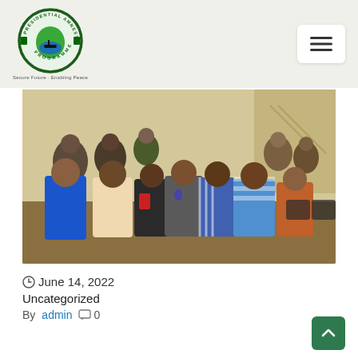Presidential Amnesty Programme
[Figure (photo): Group photo of multiple people standing and seated in an indoor hall/conference room setting. Some people are in casual attire, one in military uniform, and they appear to be posing for the camera.]
June 14, 2022
Uncategorized
By admin  0